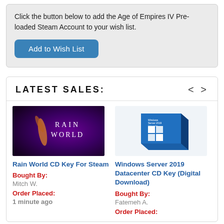Click the button below to add the Age of Empires IV Pre-loaded Steam Account to your wish list.
Add to Wish List
LATEST SALES:
[Figure (screenshot): Rain World game cover art — dark purple/magenta background with creature silhouette and 'RAIN WORLD' text]
[Figure (photo): Windows Server 2019 Datacenter product box — blue box with Windows logo]
Rain World CD Key For Steam
Bought By: Mitch W. Order Placed: 1 minute ago
Windows Server 2019 Datacenter CD Key (Digital Download)
Bought By: Fatemeh A. Order Placed: